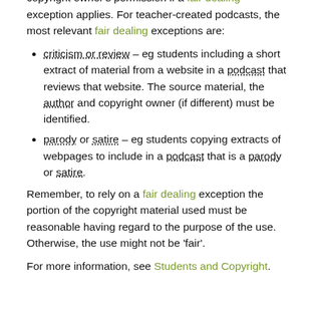Material may be included in a podcast without the copyright owner's permission if a fair dealing exception applies. For teacher-created podcasts, the most relevant fair dealing exceptions are:
criticism or review – eg students including a short extract of material from a website in a podcast that reviews that website. The source material, the author and copyright owner (if different) must be identified.
parody or satire – eg students copying extracts of webpages to include in a podcast that is a parody or satire.
Remember, to rely on a fair dealing exception the portion of the copyright material used must be reasonable having regard to the purpose of the use. Otherwise, the use might not be 'fair'.
For more information, see Students and Copyright.